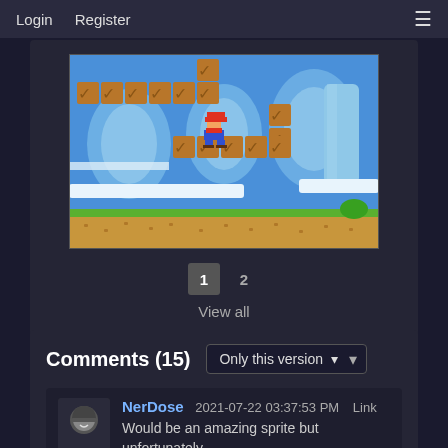Login   Register
[Figure (screenshot): Screenshot of a Super Mario Bros style game level with a blue icy background, brick platforms, and Mario character sprite.]
1  2
View all
Comments (15)
Only this version
NerDose  2021-07-22 03:37:53 PM  Link
Would be an amazing sprite but unfortunately it's prone to break from the intended...